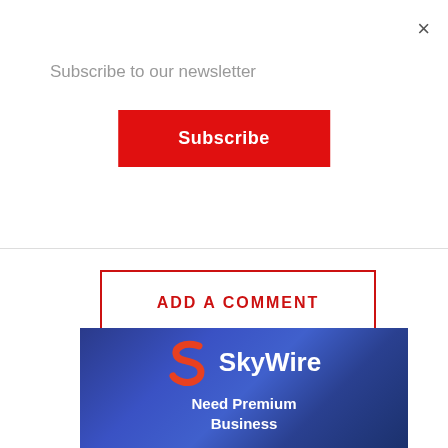×
Subscribe to our newsletter
Subscribe
ADD A COMMENT
[Figure (logo): SkyWire advertisement banner with blue geometric background, orange S logo, white SkyWire brand name, and tagline 'Need Premium Business']